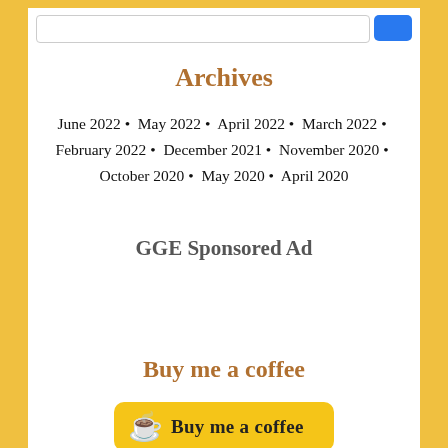Archives
June 2022 • May 2022 • April 2022 • March 2022 • February 2022 • December 2021 • November 2020 • October 2020 • May 2020 • April 2020
GGE Sponsored Ad
Buy me a coffee
[Figure (other): Buy me a coffee button with coffee cup icon and yellow background]